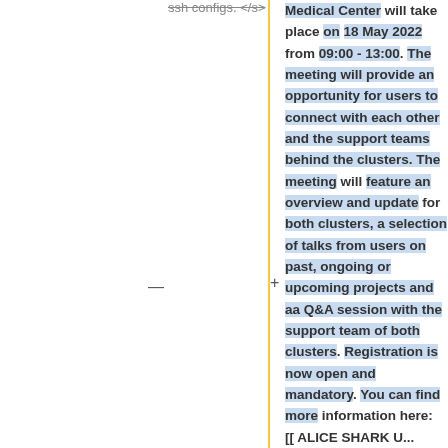ssh configs. </s>
Medical Center will take place on 18 May 2022 from 09:00 - 13:00. The meeting will provide an opportunity for users to connect with each other and the support teams behind the clusters. The meeting will feature an overview and update for both clusters, a selection of talks from users on past, ongoing or upcoming projects and aa Q&A session with the support team of both clusters. Registration is now open and mandatory. You can find more information here: [[ ALICE SHARK U...